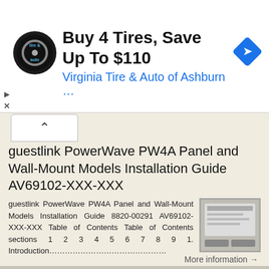[Figure (other): Advertisement banner: Virginia Tire & Auto of Ashburn — Buy 4 Tires, Save Up To $110. Shows circular logo with tire and auto branding, and a blue diamond navigation arrow icon.]
guestlink PowerWave PW4A Panel and Wall-Mount Models Installation Guide AV69102-XXX-XXX
guestlink PowerWave PW4A Panel and Wall-Mount Models Installation Guide 8820-00291 AV69102-XXX-XXX Table of Contents Table of Contents sections 1 2 3 4 5 6 7 8 9 1. Introduction………………………………………
More information →
VIZIO. QUICK START GUIDE Model: E241i-A1 & E291i-A1
VIZIO. QUICK START GUIDE Model: E241i-